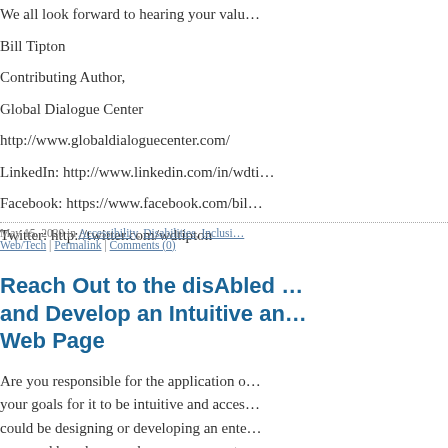We all look forward to hearing your valu…
Bill Tipton
Contributing Author,
Global Dialogue Center
http://www.globaldialoguecenter.com/
LinkedIn: http://www.linkedin.com/in/wdti…
Facebook: https://www.facebook.com/bil…
Twitter: http://twitter.com/wdtipton
May 15, 2020 in Accessibility, Disabilities, Inclusi… Web/Tech | Permalink | Comments (0)
Reach Out to the disAbled … and Develop an Intuitive an… Web Page
Are you responsible for the application o… your goals for it to be intuitive and acces… could be designing or developing an ente… accessed by a browser by anyone over t…